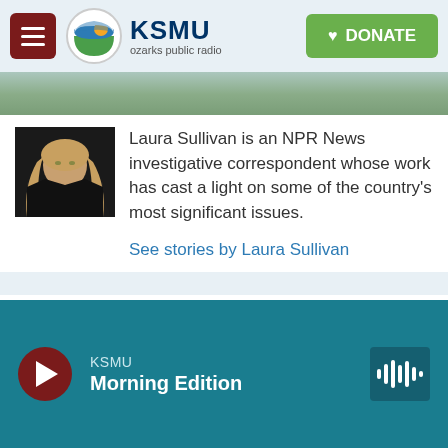KSMU ozarks public radio | DONATE
[Figure (photo): Photo of Laura Sullivan, a woman with blonde hair against a dark background]
Laura Sullivan is an NPR News investigative correspondent whose work has cast a light on some of the country's most significant issues.
See stories by Laura Sullivan
KSMU Morning Edition [play button and waveform icon]